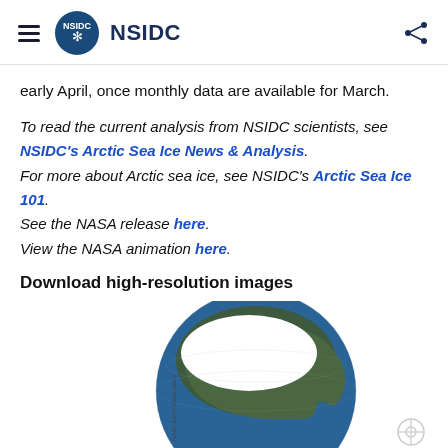NSIDC
early April, once monthly data are available for March.
To read the current analysis from NSIDC scientists, see NSIDC's Arctic Sea Ice News & Analysis. For more about Arctic sea ice, see NSIDC's Arctic Sea Ice 101. See the NASA release here. View the NASA animation here.
Download high-resolution images
[Figure (photo): Globe showing Arctic region with sea ice coverage, labeled NASA Earth Observatory]